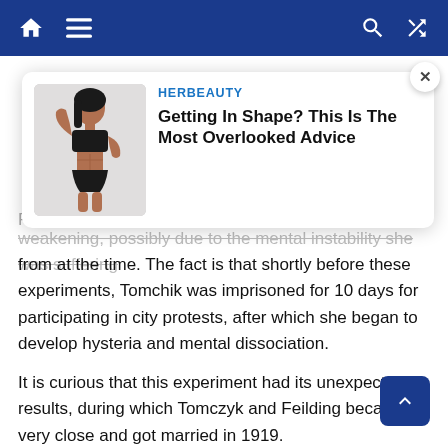Navigation bar with home, menu, search, and shuffle icons
[Figure (screenshot): Advertisement card overlay showing a fitness woman posing in black athletic wear, with HERBEAUTY branding and headline 'Getting In Shape? This Is The Most Overlooked Advice']
weakening, possibly due to the mental instability she was suffering from at the time. The fact is that shortly before these experiments, Tomchik was imprisoned for 10 days for participating in city protests, after which she began to develop hysteria and mental dissociation.
It is curious that this experiment had its unexpected results, during which Tomczyk and Feilding became very close and got married in 1919.
After Stanislav's marriage, Tomchik stopped conducting her public appearances with telekinesis, and since then the question of